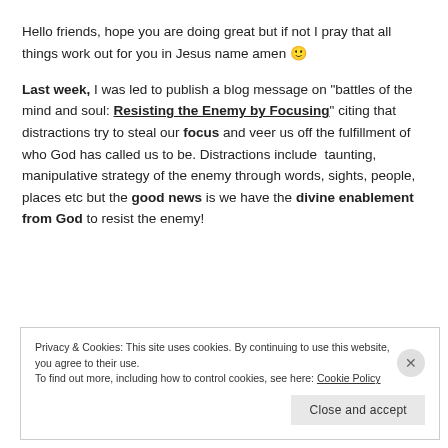Hello friends, hope you are doing great but if not I pray that all things work out for you in Jesus name amen 🙂
Last week, I was led to publish a blog message on "battles of the mind and soul: Resisting the Enemy by Focusing" citing that distractions try to steal our focus and veer us off the fulfillment of who God has called us to be. Distractions include taunting, manipulative strategy of the enemy through words, sights, people, places etc but the good news is we have the divine enablement from God to resist the enemy!
Privacy & Cookies: This site uses cookies. By continuing to use this website, you agree to their use. To find out more, including how to control cookies, see here: Cookie Policy